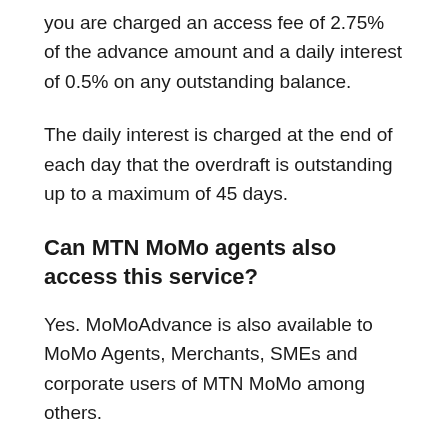you are charged an access fee of 2.75% of the advance amount and a daily interest of 0.5% on any outstanding balance.
The daily interest is charged at the end of each day that the overdraft is outstanding up to a maximum of 45 days.
Can MTN MoMo agents also access this service?
Yes. MoMoAdvance is also available to MoMo Agents, Merchants, SMEs and corporate users of MTN MoMo among others.